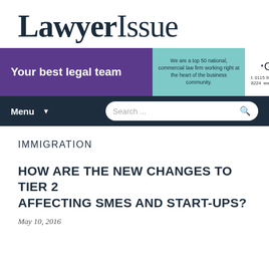[Figure (logo): LawyerIssue logo in dark serif/sans font]
[Figure (infographic): Banner advertisement for Gateley law firm: 'Your best legal team' on purple background, description text on teal background, Gateley logo and contact details on white]
[Figure (screenshot): Navigation bar with Menu dropdown and Search field on dark navy background]
IMMIGRATION
HOW ARE THE NEW CHANGES TO TIER 2 AFFECTING SMES AND START-UPS?
May 10, 2016